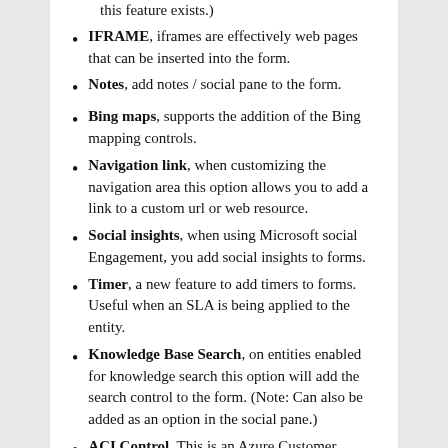this feature exists.)
IFRAME, iframes are effectively web pages that can be inserted into the form.
Notes, add notes / social pane to the form.
Bing maps, supports the addition of the Bing mapping controls.
Navigation link, when customizing the navigation area this option allows you to add a link to a custom url or web resource.
Social insights, when using Microsoft social Engagement, you add social insights to forms.
Timer, a new feature to add timers to forms. Useful when an SLA is being applied to the entity.
Knowledge Base Search, on entities enabled for knowledge search this option will add the search control to the form. (Note: Can also be added as an option in the social pane.)
ACI Control, This is an Azure Customer